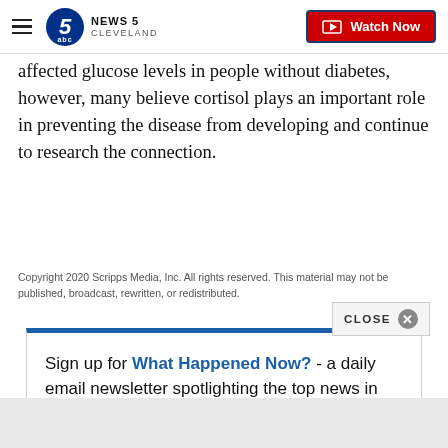NEWS 5 CLEVELAND — Watch Now
affected glucose levels in people without diabetes, however, many believe cortisol plays an important role in preventing the disease from developing and continue to research the connection.
Copyright 2020 Scripps Media, Inc. All rights reserved. This material may not be published, broadcast, rewritten, or redistributed.
Sign up for What Happened Now? - a daily email newsletter spotlighting the top news in the Cleveland area each day.